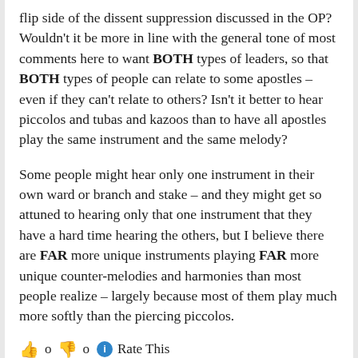flip side of the dissent suppression discussed in the OP? Wouldn't it be more in line with the general tone of most comments here to want BOTH types of leaders, so that BOTH types of people can relate to some apostles – even if they can't relate to others? Isn't it better to hear piccolos and tubas and kazoos than to have all apostles play the same instrument and the same melody?
Some people might hear only one instrument in their own ward or branch and stake – and they might get so attuned to hearing only that one instrument that they have a hard time hearing the others, but I believe there are FAR more unique instruments playing FAR more unique counter-melodies and harmonies than most people realize – largely because most of them play much more softly than the piercing piccolos.
👍 o 👎 o ℹ Rate This